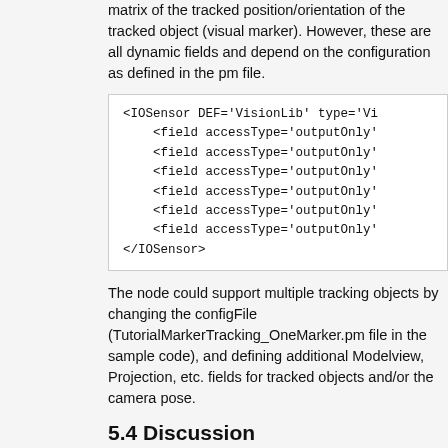matrix of the tracked position/orientation of the tracked object (visual marker). However, these are all dynamic fields and depend on the configuration as defined in the pm file.
<IOSensor DEF='VisionLib' type='Vi...
    <field accessType='outputOnly'
    <field accessType='outputOnly'
    <field accessType='outputOnly'
    <field accessType='outputOnly'
    <field accessType='outputOnly'
    <field accessType='outputOnly'
</IOSensor>
The node could support multiple tracking objects by changing the configFile (TutorialMarkerTracking_OneMarker.pm file in the sample code), and defining additional Modelview, Projection, etc. fields for tracked objects and/or the camera pose.
5.4 Discussion
While both proposal KC1 and IR proposes to retrieve tracking information from a node that represents a camera sensor, proposal KC1 also retrieves information of the...